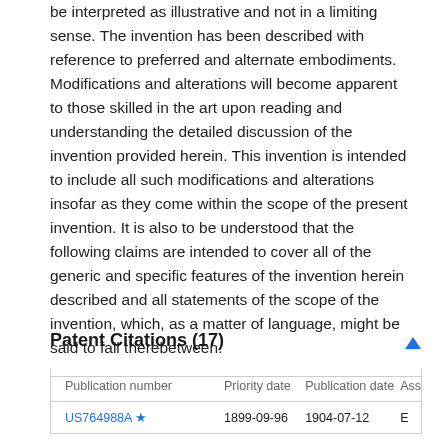be interpreted as illustrative and not in a limiting sense. The invention has been described with reference to preferred and alternate embodiments. Modifications and alterations will become apparent to those skilled in the art upon reading and understanding the detailed discussion of the invention provided herein. This invention is intended to include all such modifications and alterations insofar as they come within the scope of the present invention. It is also to be understood that the following claims are intended to cover all of the generic and specific features of the invention herein described and all statements of the scope of the invention, which, as a matter of language, might be said to fall therebetween.
Patent Citations (17)
| Publication number | Priority date | Publication date | Ass |
| --- | --- | --- | --- |
| US764988A * | 1899-09-96 | 1904-07-12 | E |